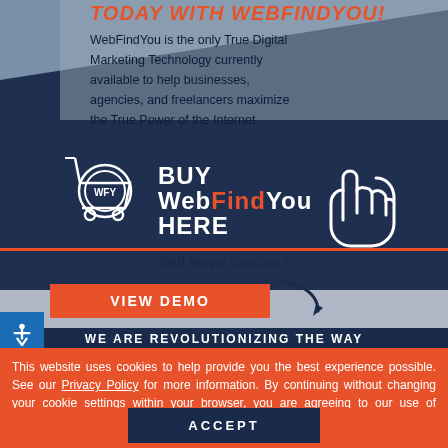TODAY WITH WEBFINDYOU!
WebFindYou is the only True Digital Marketing Technology currently available to help businesses, agencies, and freelancers maximize the True Power of the Internet.
[Figure (illustration): Shopping cart icon with WFY logo and BUY WebFindYou HERE text with pointing hand cursor arrow]
Still Have Doubts?
VIEW DEMO
WE ARE REVOLUTIONIZING THE WAY
This website uses cookies to help provide you the best experience possible. See our Privacy Policy for more information. By continuing without changing your cookie settings within your browser, you are agreeing to our use of cookies.
ACCEPT